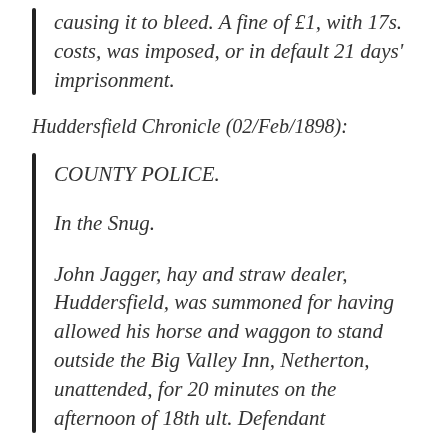causing it to bleed. A fine of £1, with 17s. costs, was imposed, or in default 21 days' imprisonment.
Huddersfield Chronicle (02/Feb/1898):
COUNTY POLICE.
In the Snug.
John Jagger, hay and straw dealer, Huddersfield, was summoned for having allowed his horse and waggon to stand outside the Big Valley Inn, Netherton, unattended, for 20 minutes on the afternoon of 18th ult. Defendant